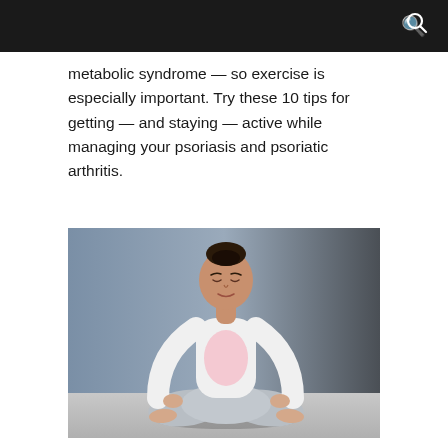metabolic syndrome — so exercise is especially important. Try these 10 tips for getting — and staying — active while managing your psoriasis and psoriatic arthritis.
[Figure (photo): A woman sitting in a lotus yoga meditation pose, wearing a white long-sleeve top and grey pants, against a grey-blue background.]